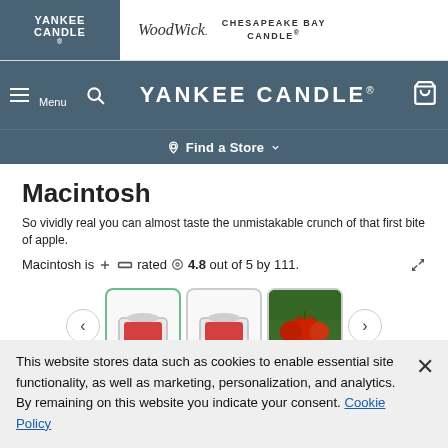[Figure (screenshot): Yankee Candle website header with brand logos (Yankee Candle, WoodWick, Chesapeake Bay Candle) and navigation bar with menu, search, Yankee Candle logo, and cart icon, plus Find a Store bar]
Macintosh
So vividly real you can almost taste the unmistakable crunch of that first bite of apple.
Macintosh is rated 4.8 out of 5 by 111.
[Figure (photo): Row of product thumbnail images showing candles in jars with red wax, and an image of apples, with left and right navigation arrows]
This website stores data such as cookies to enable essential site functionality, as well as marketing, personalization, and analytics. By remaining on this website you indicate your consent. Cookie Policy